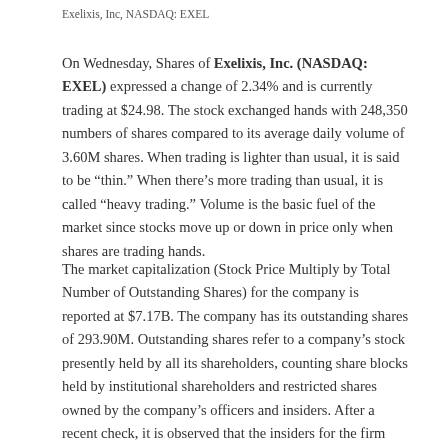Exelixis, Inc, NASDAQ: EXEL
On Wednesday, Shares of Exelixis, Inc. (NASDAQ: EXEL) expressed a change of 2.34% and is currently trading at $24.98. The stock exchanged hands with 248,350 numbers of shares compared to its average daily volume of 3.60M shares. When trading is lighter than usual, it is said to be “thin.” When there’s more trading than usual, it is called “heavy trading.” Volume is the basic fuel of the market since stocks move up or down in price only when shares are trading hands.
The market capitalization (Stock Price Multiply by Total Number of Outstanding Shares) for the company is reported at $7.17B. The company has its outstanding shares of 293.90M. Outstanding shares refer to a company’s stock presently held by all its shareholders, counting share blocks held by institutional shareholders and restricted shares owned by the company’s officers and insiders. After a recent check, it is observed that the insiders for the firm currently own 0.80% shares. There has been an observed change of -29.05% in the ownership of the shares in